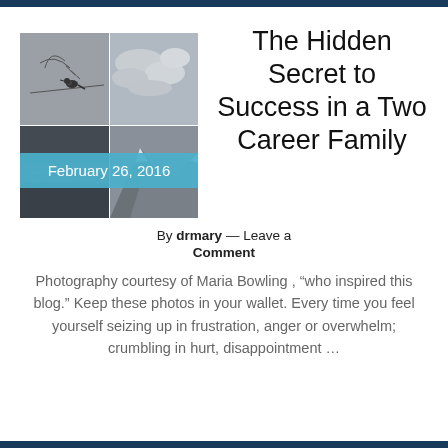[Figure (photo): 2x2 grid of black and white nature photographs showing a bird on a branch, cloudy skies, a waterscape, and snowy mountains, with a blue overlay band showing 'February 26, 2016']
The Hidden Secret to Success in a Two Career Family
By drmary — Leave a Comment
Photography courtesy of Maria Bowling , “who inspired this blog.” Keep these photos in your wallet. Every time you feel yourself seizing up in frustration, anger or overwhelm; crumbling in hurt, disappointment …